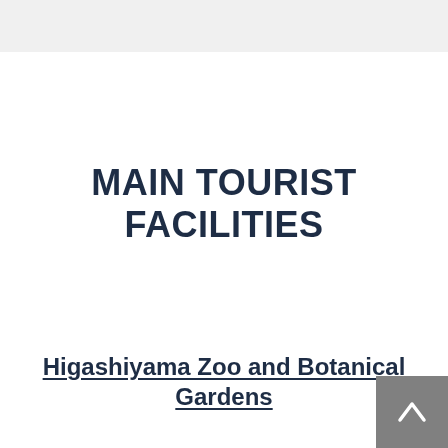MAIN TOURIST FACILITIES
Higashiyama Zoo and Botanical Gardens